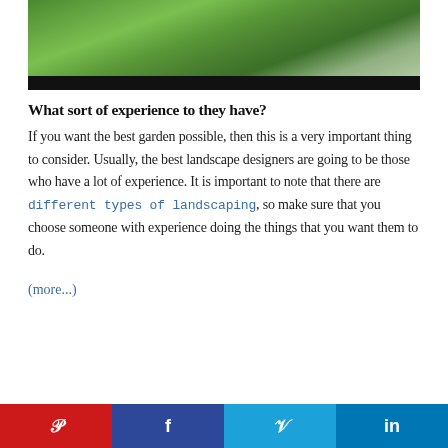[Figure (photo): Photograph of garden/landscape with green trees and shrubs, with a dark banner at the bottom of the image]
What sort of experience to they have?
If you want the best garden possible, then this is a very important thing to consider. Usually, the best landscape designers are going to be those who have a lot of experience. It is important to note that there are different types of landscaping, so make sure that you choose someone with experience doing the things that you want them to do.
(more...)
[Figure (infographic): Social sharing bar with four buttons: Pinterest (red), Facebook (dark blue), Twitter (light blue), LinkedIn (blue), each with respective icons]